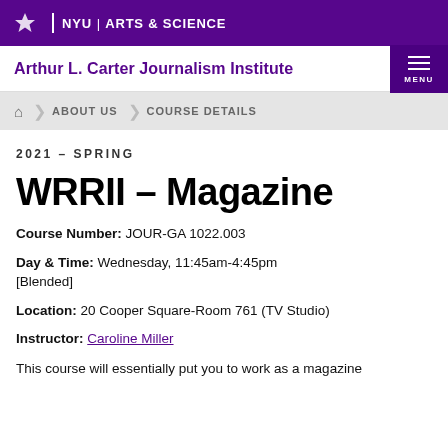NYU | ARTS & SCIENCE
Arthur L. Carter Journalism Institute
ABOUT US > COURSE DETAILS
2021 – SPRING
WRRII – Magazine
Course Number: JOUR-GA 1022.003
Day & Time: Wednesday, 11:45am-4:45pm [Blended]
Location: 20 Cooper Square-Room 761 (TV Studio)
Instructor: Caroline Miller
This course will essentially put you to work as a magazine